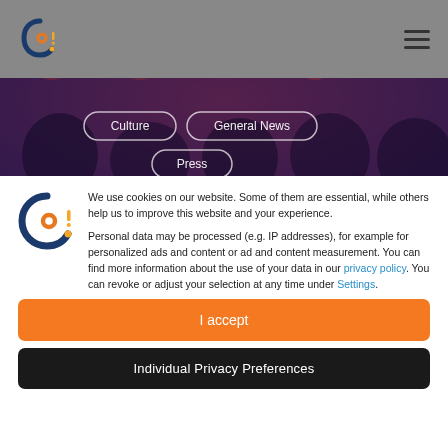[Figure (photo): Hero image showing group of people in front of colorful balloons background with category pills overlaid: Culture, General News, Press]
We use cookies on our website. Some of them are essential, while others help us to improve this website and your experience.

Personal data may be processed (e.g. IP addresses), for example for personalized ads and content or ad and content measurement. You can find more information about the use of your data in our privacy policy. You can revoke or adjust your selection at any time under Settings.
I accept
Individual Privacy Preferences